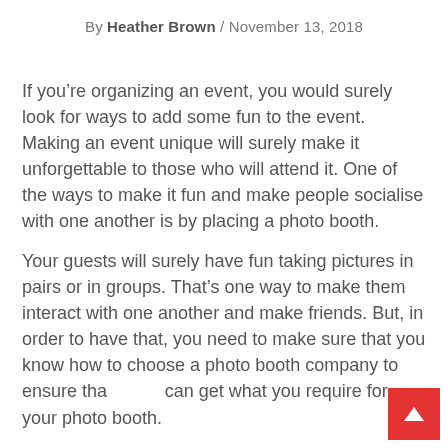By Heather Brown / November 13, 2018
If you’re organizing an event, you would surely look for ways to add some fun to the event. Making an event unique will surely make it unforgettable to those who will attend it. One of the ways to make it fun and make people socialise with one another is by placing a photo booth.
Your guests will surely have fun taking pictures in pairs or in groups. That’s one way to make them interact with one another and make friends. But, in order to have that, you need to make sure that you know how to choose a photo booth company to ensure that you can get what you require for your photo booth.